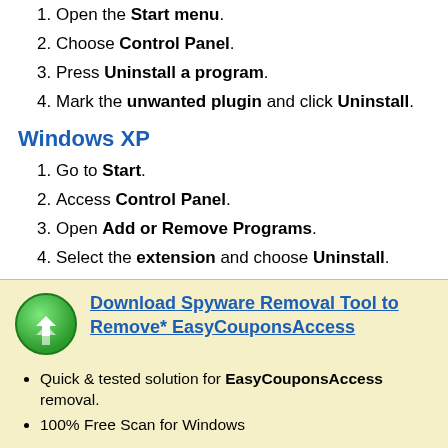1. Open the Start menu.
2. Choose Control Panel.
3. Press Uninstall a program.
4. Mark the unwanted plugin and click Uninstall.
Windows XP
1. Go to Start.
2. Access Control Panel.
3. Open Add or Remove Programs.
4. Select the extension and choose Uninstall.
[Figure (logo): Green circular download icon with white chevron arrows]
Download Spyware Removal Tool to Remove* EasyCouponsAccess
Quick & tested solution for EasyCouponsAccess removal.
100% Free Scan for Windows